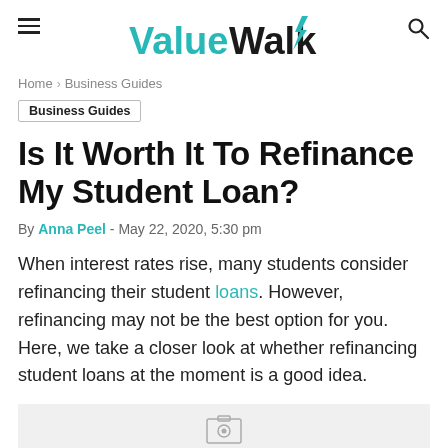ValueWalk
Home > Business Guides
Business Guides
Is It Worth It To Refinance My Student Loan?
By Anna Peel - May 22, 2020, 5:30 pm
When interest rates rise, many students consider refinancing their student loans. However, refinancing may not be the best option for you. Here, we take a closer look at whether refinancing student loans at the moment is a good idea.
[Figure (photo): Partially visible image at the bottom of the page]